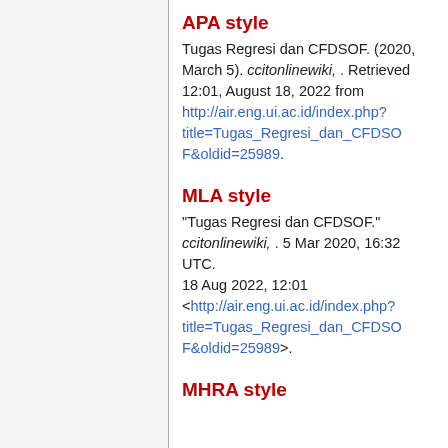APA style
Tugas Regresi dan CFDSOF. (2020, March 5). ccitonlinewiki, . Retrieved 12:01, August 18, 2022 from http://air.eng.ui.ac.id/index.php?title=Tugas_Regresi_dan_CFDSOF&oldid=25989.
MLA style
"Tugas Regresi dan CFDSOF." ccitonlinewiki, . 5 Mar 2020, 16:32 UTC. 18 Aug 2022, 12:01 <http://air.eng.ui.ac.id/index.php?title=Tugas_Regresi_dan_CFDSOF&oldid=25989>.
MHRA style